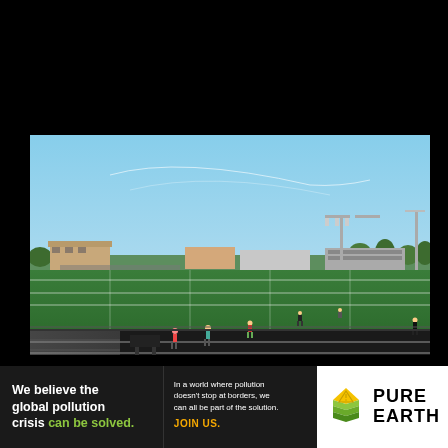[Figure (photo): Outdoor sports field with running track in foreground, green turf soccer/football field, bleachers on left, light poles, trees and buildings in background, blue sky. People visible on track and field. Black borders top and bottom.]
We believe the global pollution crisis can be solved.
In a world where pollution doesn't stop at borders, we can all be part of the solution. JOIN US.
[Figure (logo): Pure Earth logo: yellow/green diamond/chevron stacked shape icon with PURE EARTH text in bold black]